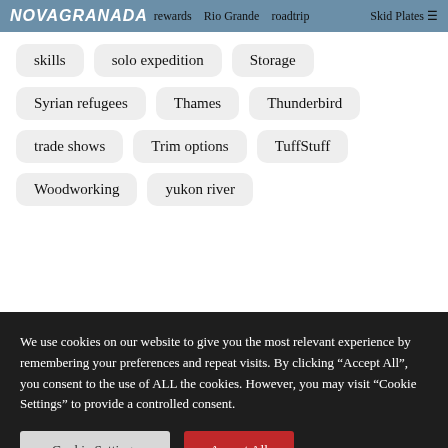NOVAGRANADA rewards Rio Grande roadtrip Skid Plates
skills
solo expedition
Storage
Syrian refugees
Thames
Thunderbird
trade shows
Trim options
TuffStuff
Woodworking
yukon river
We use cookies on our website to give you the most relevant experience by remembering your preferences and repeat visits. By clicking “Accept All”, you consent to the use of ALL the cookies. However, you may visit “Cookie Settings” to provide a controlled consent.
Cookie Settings  Accept All